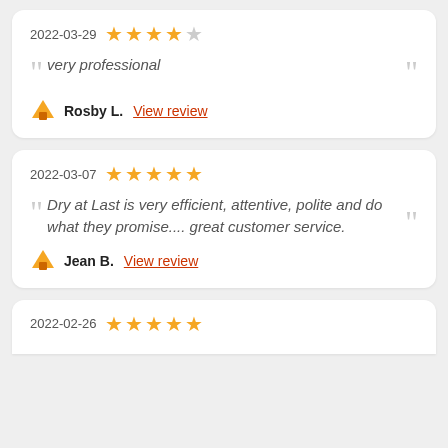2022-03-29 ★★★★☆
very professional
Rosby L. View review
2022-03-07 ★★★★★
Dry at Last is very efficient, attentive, polite and do what they promise.... great customer service.
Jean B. View review
2022-02-26 ★★★★★